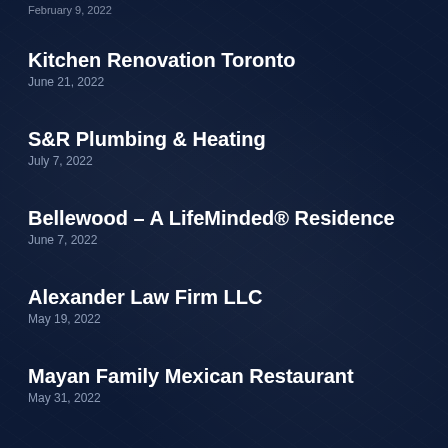February 9, 2022
Kitchen Renovation Toronto
June 21, 2022
S&R Plumbing & Heating
July 7, 2022
Bellewood – A LifeMinded® Residence
June 7, 2022
Alexander Law Firm LLC
May 19, 2022
Mayan Family Mexican Restaurant
May 31, 2022